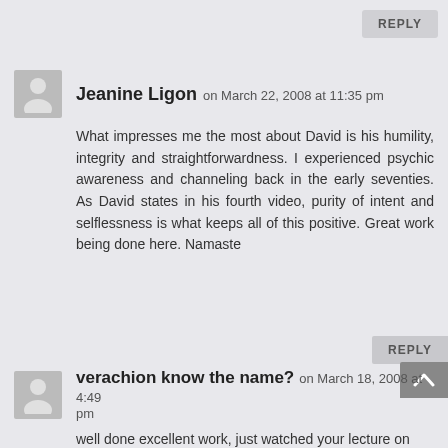REPLY
Jeanine Ligon on March 22, 2008 at 11:35 pm
What impresses me the most about David is his humility, integrity and straightforwardness. I experienced psychic awareness and channeling back in the early seventies. As David states in his fourth video, purity of intent and selflessness is what keeps all of this positive. Great work being done here. Namaste
REPLY
verachion know the name? on March 18, 2008 at 4:49 pm
well done excellent work, just watched your lecture on google video thanks for joining the dots, I woke up the other day dreaming that there is some REAL and the...